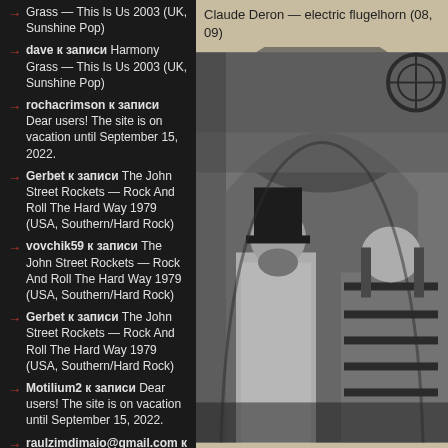Grass — This Is Us 2003 (UK, Sunshine Pop)
dave к записи Harmony Grass — This Is Us 2003 (UK, Sunshine Pop)
rochacrimson к записи Dear users! The site is on vacation until September 15, 2022.
Gerbet к записи The John Street Rockets — Rock And Roll The Hard Way 1979 (USA, Southern/Hard Rock)
vovchik59 к записи The John Street Rockets — Rock And Roll The Hard Way 1979 (USA, Southern/Hard Rock)
Gerbet к записи The John Street Rockets — Rock And Roll The Hard Way 1979 (USA, Southern/Hard Rock)
Motilium2 к записи Dear users! The site is on vacation until September 15, 2022.
raulzimdimaio@gmail.com к записи...
Claude Deron — electric flugelhorn (08, 09)
[Figure (photo): Black and white photograph of two men standing in front of a stone archway. The man on the left has a beard and is wearing a top hat and light-colored coat. The man on the right has long hair and is wearing a striped sweater.]